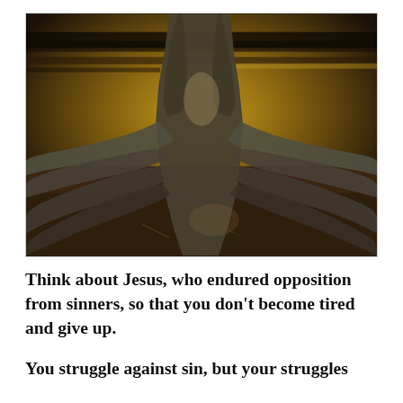[Figure (photo): Dramatic photograph of massive tree roots spreading wide across the ground, viewed from below looking up the trunk which splits into two main branches. The roots are large, smooth, and grey, spreading outward like buttresses. The sky background shows a stormy golden-yellow sunset with dark clouds. The ground between the roots shows dirt and small debris. High dynamic range (HDR) photography style.]
Think about Jesus, who endured opposition from sinners, so that you don't become tired and give up.
You struggle against sin, but your struggles